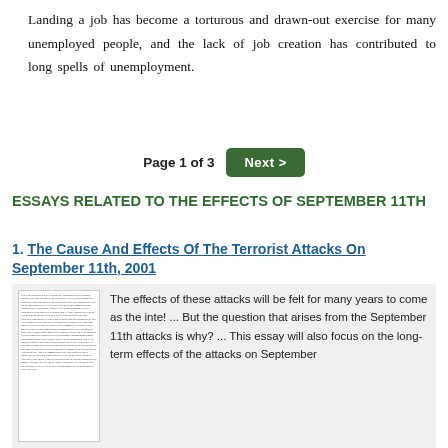Landing a job has become a torturous and drawn-out exercise for many unemployed people, and the lack of job creation has contributed to long spells of unemployment.
Page 1 of 3  Next >
ESSAYS RELATED TO THE EFFECTS OF SEPTEMBER 11TH
1. The Cause And Effects Of The Terrorist Attacks On September 11th, 2001
[Figure (other): Thumbnail preview image of an essay document page with dense small text]
The effects of these attacks will be felt for many years to come as the inte! ... But the question that arises from the September 11th attacks is why? ... This essay will also focus on the long-term effects of the attacks on September